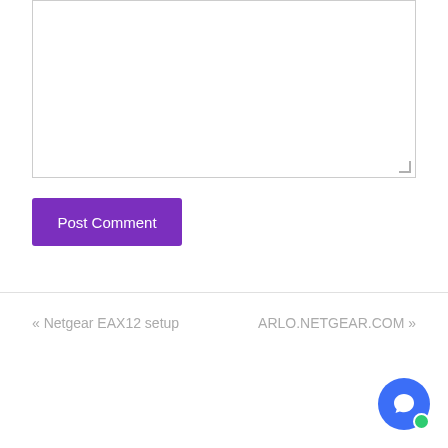[Figure (screenshot): Empty textarea / comment input box with a resize handle in the bottom-right corner]
[Figure (screenshot): Purple 'Post Comment' submit button]
[Figure (other): Horizontal divider line separating content from navigation]
« Netgear EAX12 setup    ARLO.NETGEAR.COM »
[Figure (other): Blue circular chat button with green online indicator dot in bottom-right corner of page]